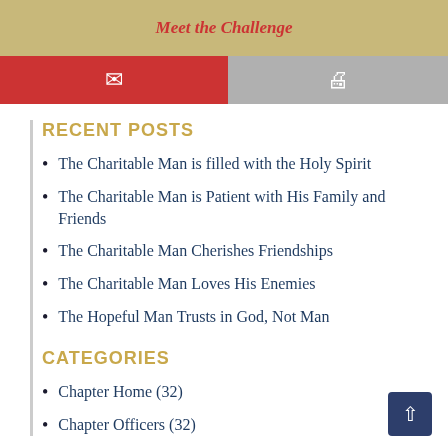Meet the Challenge
RECENT POSTS
The Charitable Man is filled with the Holy Spirit
The Charitable Man is Patient with His Family and Friends
The Charitable Man Cherishes Friendships
The Charitable Man Loves His Enemies
The Hopeful Man Trusts in God, Not Man
CATEGORIES
Chapter Home (32)
Chapter Officers (32)